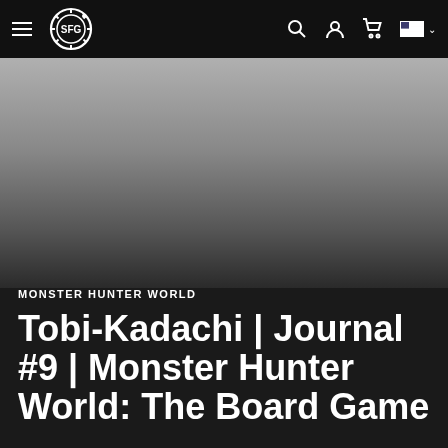SFG navigation bar with hamburger menu, SFG logo, search, account, cart, and US flag with dropdown
[Figure (photo): Hero image area with dark gradient background, transitioning from light gray at top to dark gray/black at bottom]
MONSTER HUNTER WORLD
Tobi-Kadachi | Journal #9 | Monster Hunter World: The Board Game